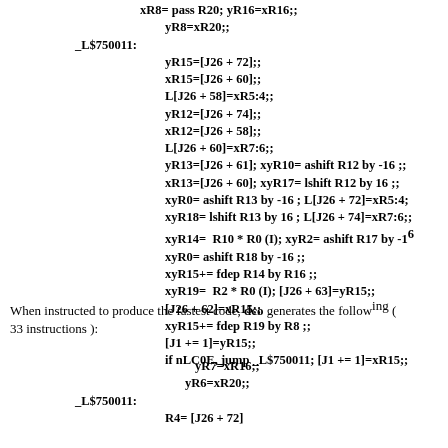xR8= pass R20; yR16=xR16;;
        yR8=xR20;;
_L$750011:
        yR15=[J26 + 72];;
        xR15=[J26 + 60];;
        L[J26 + 58]=xR5:4;;
        yR12=[J26 + 74];;
        xR12=[J26 + 58];;
        L[J26 + 60]=xR7:6;;
        yR13=[J26 + 61]; xyR10= ashift R12 by -16 ;;
        xR13=[J26 + 60]; xyR17= lshift R12 by 16 ;;
        xyR0= ashift R13 by -16 ; L[J26 + 72]=xR5:4;
        xyR18= lshift R13 by 16 ; L[J26 + 74]=xR7:6;;
        xyR14=  R10 * R0 (I); xyR2= ashift R17 by -16
        xyR0= ashift R18 by -16 ;;
        xyR15+= fdep R14 by R16 ;;
        xyR19=  R2 * R0 (I); [J26 + 63]=yR15;;
        [J26 + 62]=xR15;;
        xyR15+= fdep R19 by R8 ;;
        [J1 += 1]=yR15;;
        if nLC0E, jump _L$750011; [J1 += 1]=xR15;;
When instructed to produce the fastest code, dco generates the following ( 33 instructions ):
yR7=xR16;;
         yR6=xR20;;
_L$750011:
        R4= [J26 + 72]